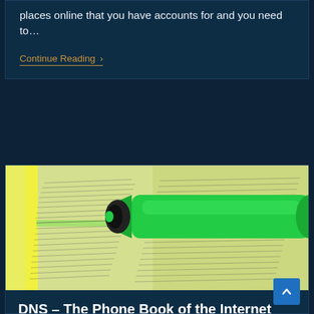places online that you have accounts for and you need to…
Continue Reading ›
[Figure (photo): A green highlighter marker resting on an open phone book/directory page, with yellow highlighted text visible on the pages.]
DNS – The Phone Book of the Internet
March 8, 2018